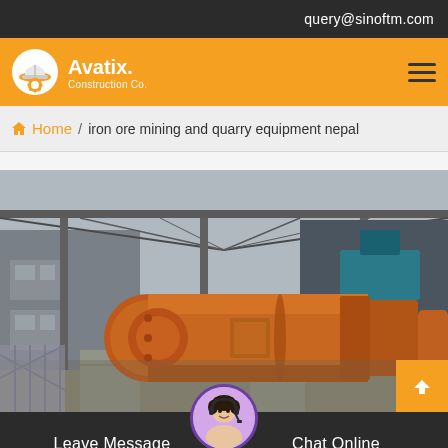query@sinoftm.com
[Figure (logo): Avatix Construction Co. logo with hard hat icon on orange background navigation bar]
Home / iron ore mining and quarry equipment nepal
[Figure (photo): Industrial mining facility showing large orange cylindrical ball mill equipment inside a steel-roofed building]
Leave Message
Chat Online